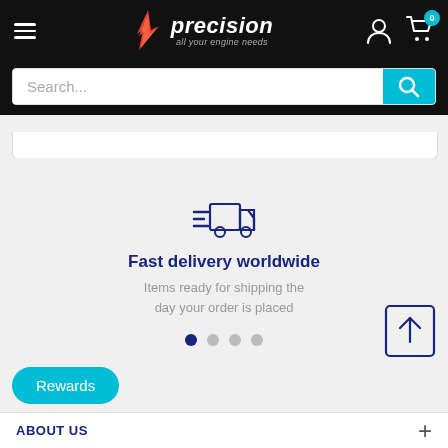[Figure (logo): Precision engine parts logo with flame/spark icon, brand name 'precision' in italic white, tagline 'all your engine needs' below]
[Figure (screenshot): Search bar with placeholder text 'Search...' and teal search button with magnifying glass icon]
[Figure (illustration): Fast delivery truck icon in dark blue outline style with speed lines]
Fast delivery worldwide
Items ready for shipping the day your order is placed
[Figure (illustration): Share/upload icon — square with upward arrow]
[Figure (illustration): Rewards button in teal/cyan color]
ABOUT US